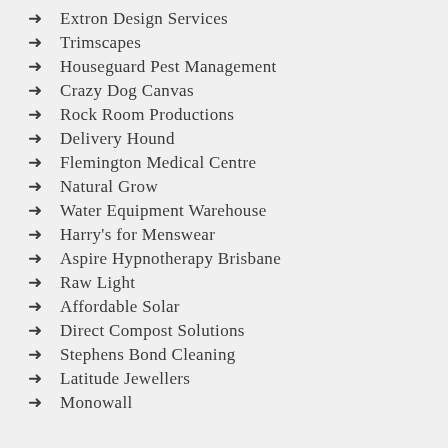Extron Design Services
Trimscapes
Houseguard Pest Management
Crazy Dog Canvas
Rock Room Productions
Delivery Hound
Flemington Medical Centre
Natural Grow
Water Equipment Warehouse
Harry's for Menswear
Aspire Hypnotherapy Brisbane
Raw Light
Affordable Solar
Direct Compost Solutions
Stephens Bond Cleaning
Latitude Jewellers
Monowall